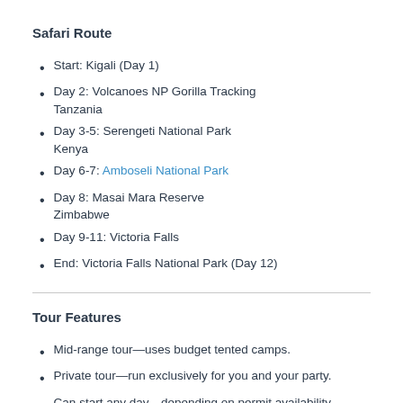Safari Route
Start: Kigali (Day 1)
Day 2: Volcanoes NP Gorilla Tracking Tanzania
Day 3-5: Serengeti National Park Kenya
Day 6-7: Amboseli National Park
Day 8: Masai Mara Reserve Zimbabwe
Day 9-11: Victoria Falls
End: Victoria Falls National Park (Day 12)
Tour Features
Mid-range tour—uses budget tented camps.
Private tour—run exclusively for you and your party.
Can start any day—depending on permit availability.
Can be customised: You can customise almost the…